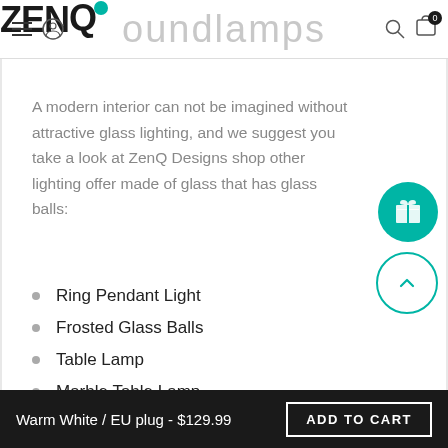ZenQ Lamps – Round Lamps
A modern interior can not be imagined without attractive glass lighting, and we suggest you take a look at ZenQ Designs shop other lighting offer made of glass that has glass balls:
Ring Pendant Light
Frosted Glass Balls
Table Lamp
Marble Table Lamp
Tube Table Lamp
Warm White / EU plug - $129.99  ADD TO CART